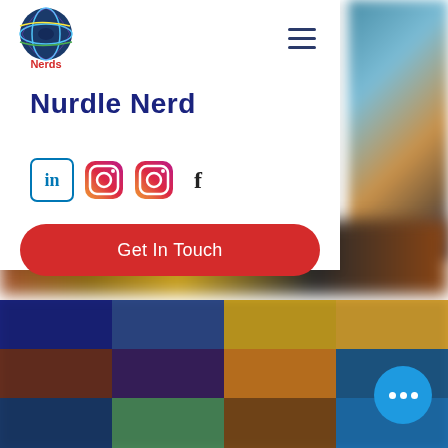[Figure (logo): Nurdle Nerd logo: globe with colorful swirl pattern and 'Nerds' text in red below]
[Figure (screenshot): Hamburger/menu icon with three horizontal dark blue lines]
Nurdle Nerd
[Figure (illustration): Row of social media icons: LinkedIn (blue square with 'in'), two Instagram camera icons (gradient), Facebook 'f' icon]
[Figure (screenshot): Red pill-shaped button with white text 'Get In Touch']
[Figure (photo): Blurred colorful grid of thumbnail images, arranged in rows]
[Figure (infographic): Blue circle chat button with three white dots (ellipsis)]